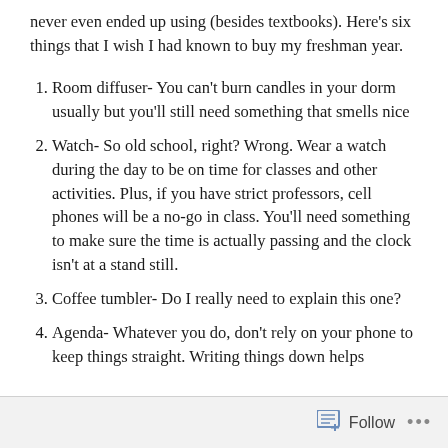never even ended up using (besides textbooks). Here's six things that I wish I had known to buy my freshman year.
Room diffuser- You can't burn candles in your dorm usually but you'll still need something that smells nice
Watch- So old school, right? Wrong. Wear a watch during the day to be on time for classes and other activities. Plus, if you have strict professors, cell phones will be a no-go in class. You'll need something to make sure the time is actually passing and the clock isn't at a stand still.
Coffee tumbler- Do I really need to explain this one?
Agenda- Whatever you do, don't rely on your phone to keep things straight. Writing things down helps
Follow ...